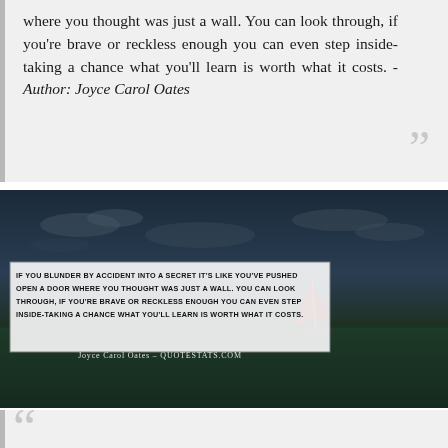where you thought was just a wall. You can look through, if you're brave or reckless enough you can even step inside-taking a chance what you'll learn is worth what it costs. - Author: Joyce Carol Oates
[Figure (photo): A dark ocean/sea scene with a windsurfer, dark blue sky with clouds, and a white text overlay box containing the Joyce Carol Oates quote in bold serif font, with attribution 'Joyce Carol Oates - QUOTESTATS.COM' below.]
IF YOU BLUNDER BY ACCIDENT INTO A SECRET IT'S LIKE YOU'VE PUSHED OPEN A DOOR WHERE YOU THOUGHT WAS JUST A WALL. YOU CAN LOOK THROUGH, IF YOU'RE BRAVE OR RECKLESS ENOUGH YOU CAN EVEN STEP INSIDE-TAKING A CHANCE WHAT YOU'LL LEARN IS WORTH WHAT IT COSTS.
Joyce Carol Oates - QUOTESTATS.COM